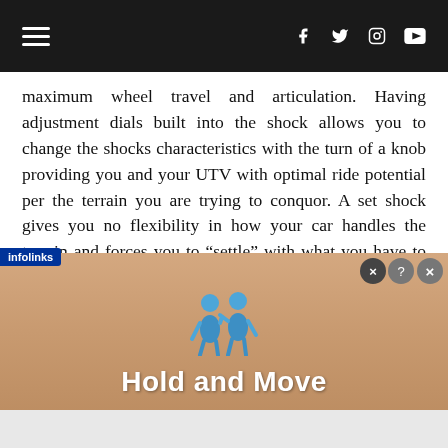Navigation bar with hamburger menu and social icons (Facebook, Twitter, Instagram, YouTube)
maximum wheel travel and articulation. Having adjustment dials built into the shock allows you to change the shocks characteristics with the turn of a knob providing you and your UTV with optimal ride potential per the terrain you are trying to conquor. A set shock gives you no flexibility in how your car handles the terrain and forces you to “settle” with what you have to work with or again spend the time to set the valving up to your style. Even then you are limited to that setting. While a few newer UTV’s come with adjustable shocks right off the showroom floor most still don’t so you need to turn to an aftermarket shock manufacturer to get
[Figure (screenshot): Infolinks advertisement overlay showing 'Hold and Move' with two blue cartoon figures on a wooden background]